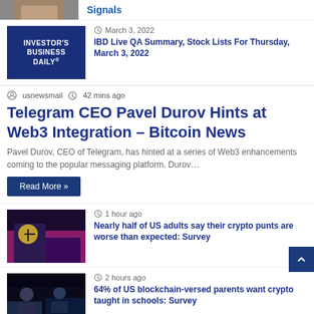[Figure (photo): Partial thumbnail of a person at top, partially cropped]
Signals
[Figure (logo): Investor's Business Daily logo - dark blue background with white bold text]
March 3, 2022
IBD Live QA Summary, Stock Lists For Thursday, March 3, 2022
usnewsmail   42 mins ago
Telegram CEO Pavel Durov Hints at Web3 Integration – Bitcoin News
Pavel Durov, CEO of Telegram, has hinted at a series of Web3 enhancements coming to the popular messaging platform. Durov…
Read More »
[Figure (photo): Hands with thumbs down gesture, colorful background]
1 hour ago
Nearly half of US adults say their crypto punts are worse than expected: Survey
[Figure (photo): Dark scene with people at computers, gaming/blockchain theme]
2 hours ago
64% of US blockchain-versed parents want crypto taught in schools: Survey